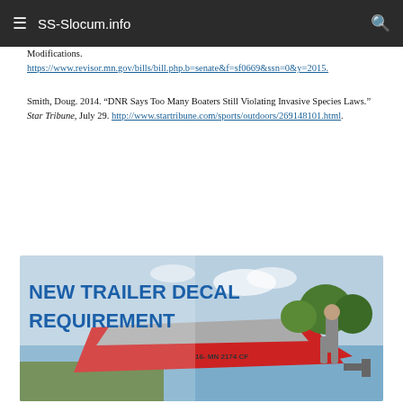SS-Slocum.info
Modifications. https://www.revisor.mn.gov/bills/bill.php.b=senate&f=sf0669&ssn=0&y=2015.
Smith, Doug. 2014. “DNR Says Too Many Boaters Still Violating Invasive Species Laws.” Star Tribune, July 29. http://www.startribune.com/sports/outdoors/269148101.html.
[Figure (photo): Banner image with text 'NEW TRAILER DECAL REQUIREMENT' on the left in bold blue text, and a photo of a person with a red boat being backed into a lake on a trailer on the right.]